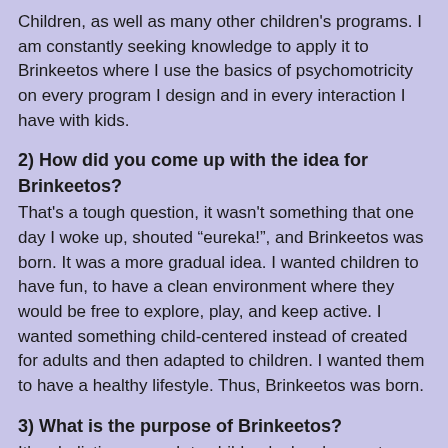Children, as well as many other children's programs. I am constantly seeking knowledge to apply it to Brinkeetos where I use the basics of psychomotricity on every program I design and in every interaction I have with kids.
2) How did you come up with the idea for Brinkeetos?
That's a tough question, it wasn't something that one day I woke up, shouted “eureka!”, and Brinkeetos was born. It was a more gradual idea. I wanted children to have fun, to have a clean environment where they would be free to explore, play, and keep active. I wanted something child-centered instead of created for adults and then adapted to children. I wanted them to have a healthy lifestyle. Thus, Brinkeetos was born.
3) What is the purpose of Brinkeetos?
It's a holistic approach to children's development, setting up children's path to a healthy lifestyle. All our activities are meant to keep children active while having fun and learning. For example, when children climb our climbing wall, they are not only working on their upper body, they are also working on having a better hand writing, working on problem solving, body awareness, and even math!